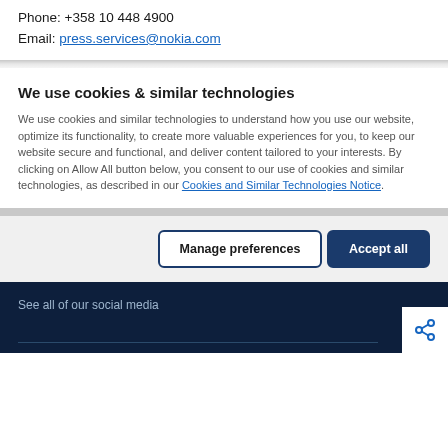Phone: +358 10 448 4900
Email: press.services@nokia.com
We use cookies & similar technologies
We use cookies and similar technologies to understand how you use our website, optimize its functionality, to create more valuable experiences for you, to keep our website secure and functional, and deliver content tailored to your interests. By clicking on Allow All button below, you consent to our use of cookies and similar technologies, as described in our Cookies and Similar Technologies Notice.
Manage preferences | Accept all
See all of our social media